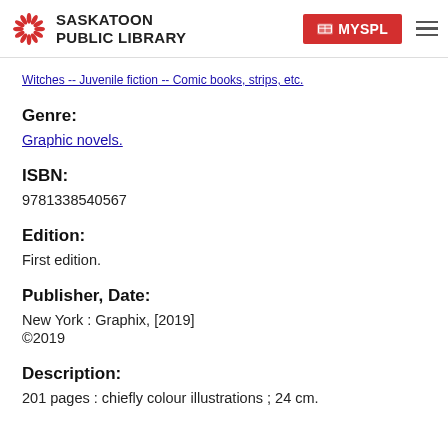Saskatoon Public Library — MYSPL
Witches -- Juvenile fiction -- Comic books, strips, etc.
Genre:
Graphic novels.
ISBN:
9781338540567
Edition:
First edition.
Publisher, Date:
New York : Graphix, [2019]
©2019
Description:
201 pages : chiefly colour illustrations ; 24 cm.